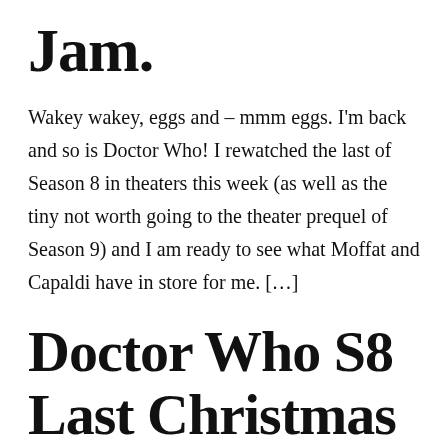Jam.
Wakey wakey, eggs and – mmm eggs. I'm back and so is Doctor Who! I rewatched the last of Season 8 in theaters this week (as well as the tiny not worth going to the theater prequel of Season 9) and I am ready to see what Moffat and Capaldi have in store for me. […]
Doctor Who S8 Last Christmas – It's Good to be Saint Nick